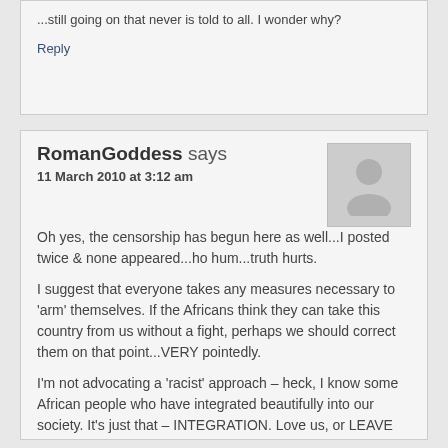...still going on that never is told to all. I wonder why?
Reply
RomanGoddess says
11 March 2010 at 3:12 am
[Figure (illustration): Default grey user avatar placeholder image]
Oh yes, the censorship has begun here as well...I posted twice & none appeared...ho hum...truth hurts.

I suggest that everyone takes any measures necessary to 'arm' themselves. If the Africans think they can take this country from us without a fight, perhaps we should correct them on that point...VERY pointedly.

I'm not advocating a 'racist' approach – heck, I know some African people who have integrated beautifully into our society. It's just that – INTEGRATION. Love us, or LEAVE us. We shouldn't have to change for YOU – YOU must